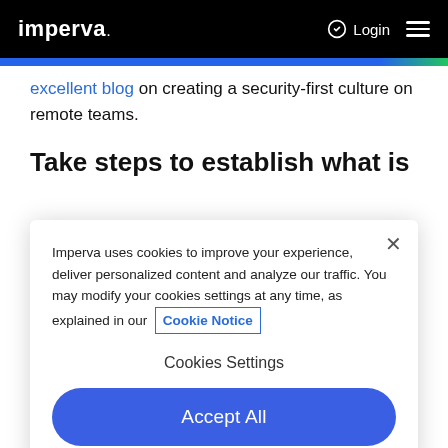imperva   Login ☰
excellent blog on creating a security-first culture on remote teams.
Take steps to establish what is
Imperva uses cookies to improve your experience, deliver personalized content and analyze our traffic. You may modify your cookies settings at any time, as explained in our Cookie Notice
Cookies Settings
Accept All